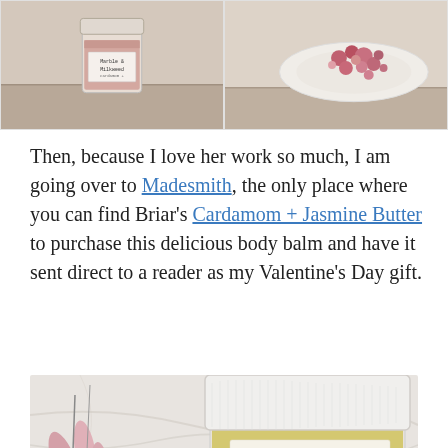[Figure (photo): Two product photos side by side: left shows a small glass jar labeled 'Marble & Milkweed' with pink salt on a wooden surface; right shows a white ceramic plate with dried rose buds and flowers on a wooden surface.]
Then, because I love her work so much, I am going over to Madesmith, the only place where you can find Briar's Cardamom + Jasmine Butter to purchase this delicious body balm and have it sent direct to a reader as my Valentine's Day gift.
[Figure (photo): A close-up photo of a glass jar with white lid labeled 'Marble & Milkweed cardamom + jasmine butter', placed on a marble surface with pink flowers in the background.]